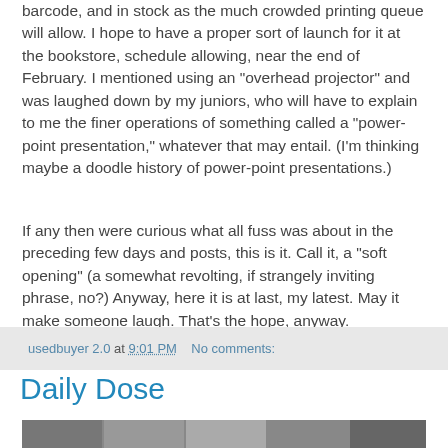barcode, and in stock as the much crowded printing queue will allow.  I hope to have a proper sort of launch for it at the bookstore, schedule allowing, near the end of February.  I mentioned using an "overhead projector" and was laughed down by my juniors, who will have to explain to me the finer operations of something called a "power-point presentation," whatever that may entail.  (I'm thinking maybe a doodle history of power-point presentations.)
If any then were curious what all fuss was about in the preceding few days and posts, this is it.  Call it, a "soft opening" (a somewhat revolting, if strangely inviting phrase, no?)  Anyway, here it is at last, my latest.  May it make someone laugh.  That's the hope, anyway.
usedbuyer 2.0 at 9:01 PM  No comments:
Daily Dose
[Figure (photo): Partial view of a photo strip or collage at the bottom of the page]